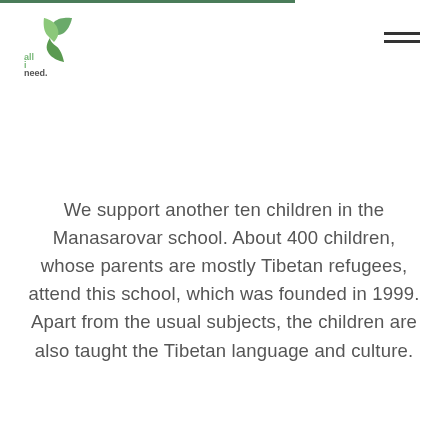[Figure (logo): all i need. brand logo with green leaf icon and text]
We support another ten children in the Manasarovar school. About 400 children, whose parents are mostly Tibetan refugees, attend this school, which was founded in 1999. Apart from the usual subjects, the children are also taught the Tibetan language and culture.